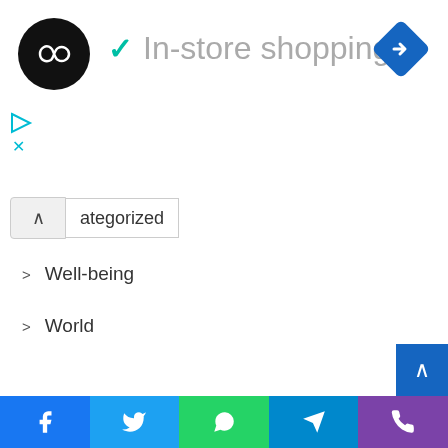[Figure (logo): Black circular logo with double infinity/loop symbol in white]
In-store shopping
[Figure (logo): Blue diamond/rhombus road sign icon with white arrow pointing right]
[Figure (other): Ad play and close icons in cyan]
ategorized
Well-being
World
Meta
Register
Log in
Entries feed
Comments feed